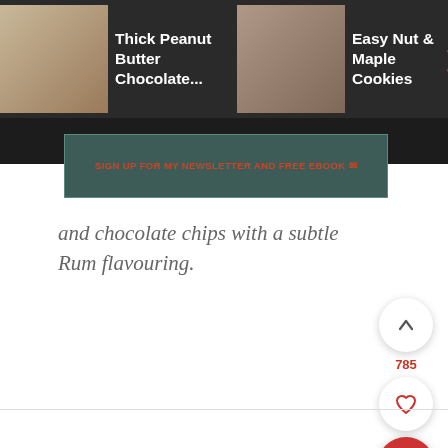[Figure (screenshot): Top navigation bar with three recipe thumbnails and titles: 'Thick Peanut Butter Chocolate...', 'Easy Nut & Maple Cookies', 'Double Chocolate Chip Skille...' on dark background]
[Figure (screenshot): Newsletter sign-up banner button with text 'SIGN UP FOR MY NEWSLETTER AND FREE EBOOK' on teal/dark background]
and chocolate chips with a subtle Rum flavouring.
[Figure (infographic): Floating action buttons: up arrow with count 785, heart/favorite button, red search button]